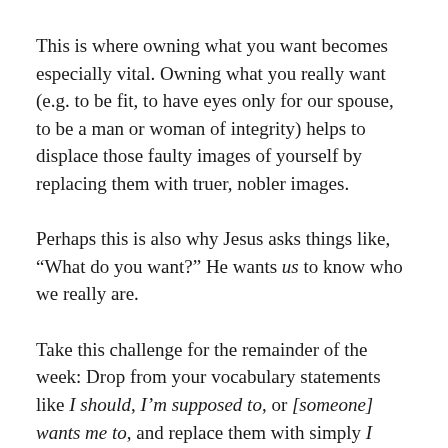This is where owning what you want becomes especially vital. Owning what you really want (e.g. to be fit, to have eyes only for our spouse, to be a man or woman of integrity) helps to displace those faulty images of yourself by replacing them with truer, nobler images.
Perhaps this is also why Jesus asks things like, “What do you want?” He wants us to know who we really are.
Take this challenge for the remainder of the week: Drop from your vocabulary statements like I should, I’m supposed to, or [someone] wants me to, and replace them with simply I want to. As you do,